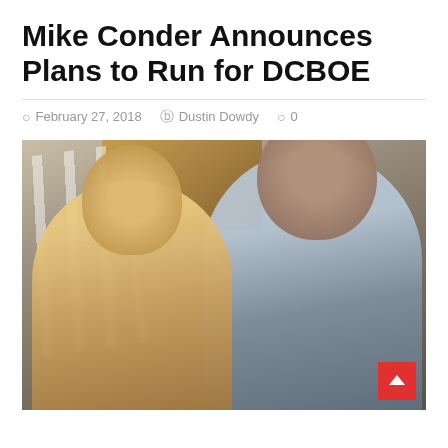Mike Conder Announces Plans to Run for DCBOE
February 27, 2018  Dustin Dowdy  0
[Figure (photo): Photo of two people (a man and a woman) smiling together outdoors near a porch with white railings and a wooden structure in the background.]